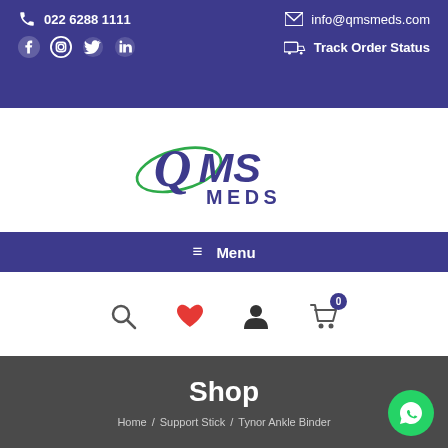022 6288 1111   info@qmsmeds.com   Track Order Status
[Figure (logo): QMS Meds logo with green orbital ring and blue text]
≡ Menu
[Figure (infographic): Navigation icons: search, heart/wishlist, user account, shopping cart with badge 0]
Shop
Home / Support Stick / Tynor Ankle Binder